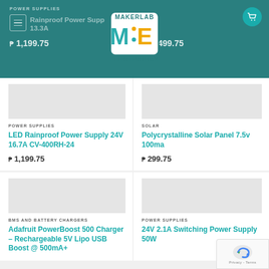POWER SUPPLIES — Makerlab Electronics header banner with logo
[Figure (logo): Makerlab Electronics logo: teal square with stylized ME letters in teal and yellow, text MAKERLAB above and ELECTRONICS below]
POWER SUPPLIES
LED Rainproof Power Supply 24V 16.7A CV-400RH-24
₱ 1,199.75
SOLAR
Polycrystalline Solar Panel 7.5v 100ma
₱ 299.75
BMS AND BATTERY CHARGERS
Adafruit PowerBoost 500 Charger – Rechargeable 5V Lipo USB Boost @ 500mA+
POWER SUPPLIES
24V 2.1A Switching Power Supply 50W